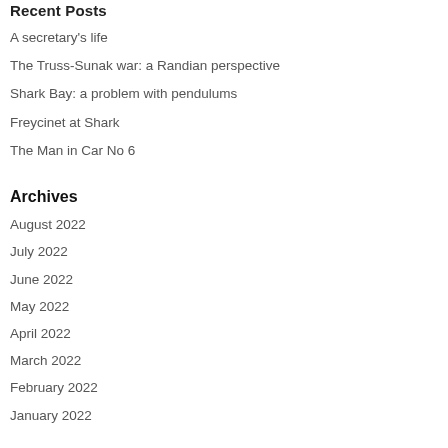Recent Posts
A secretary's life
The Truss-Sunak war: a Randian perspective
Shark Bay: a problem with pendulums
Freycinet at Shark
The Man in Car No 6
Archives
August 2022
July 2022
June 2022
May 2022
April 2022
March 2022
February 2022
January 2022